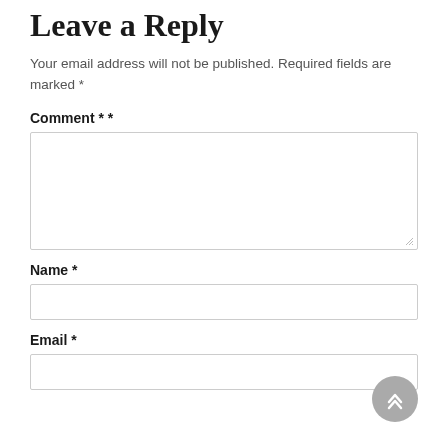Leave a Reply
Your email address will not be published. Required fields are marked *
Comment * *
Name *
Email *